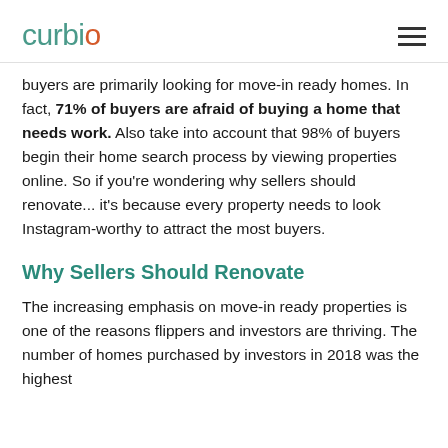curbio
buyers are primarily looking for move-in ready homes. In fact, 71% of buyers are afraid of buying a home that needs work. Also take into account that 98% of buyers begin their home search process by viewing properties online. So if you're wondering why sellers should renovate... it's because every property needs to look Instagram-worthy to attract the most buyers.
Why Sellers Should Renovate
The increasing emphasis on move-in ready properties is one of the reasons flippers and investors are thriving. The number of homes purchased by investors in 2018 was the highest